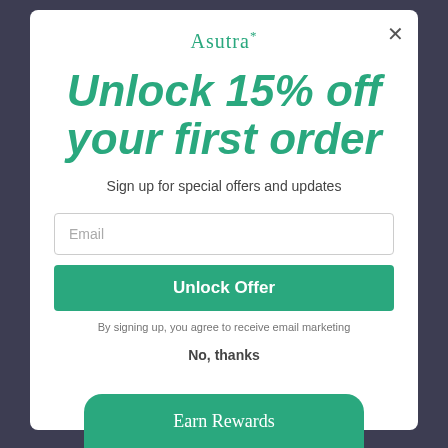Asutra*
Unlock 15% off your first order
Sign up for special offers and updates
Email
Unlock Offer
By signing up, you agree to receive email marketing
No, thanks
Earn Rewards